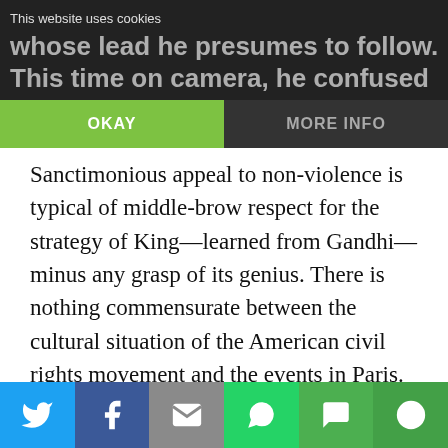whose lead he presumes to follow. This time on camera, he confused Paris in 2015 with Selma,
This website uses cookies
OKAY | MORE INFO
Sanctimonious appeal to non-violence is typical of middle-brow respect for the strategy of King—learned from Gandhi—minus any grasp of its genius. There is nothing commensurate between the cultural situation of the American civil rights movement and the events in Paris. To try to impose the conditions of that movement onto Islamic jihad is astonishing in its obtuseness. Mercy is vacated of all meaning when it is used as an excuse for blindness to history, or for inaction in the face of present realities.
Social share buttons: Twitter, Facebook, Email, WhatsApp, SMS, More